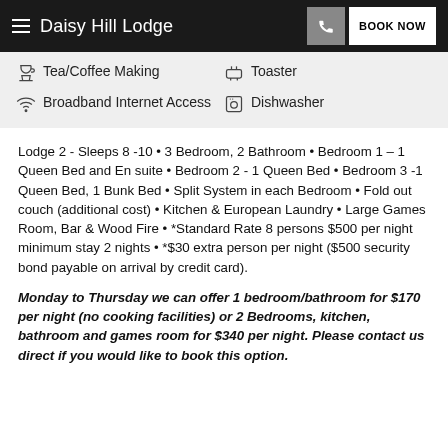Daisy Hill Lodge
Tea/Coffee Making
Toaster
Broadband Internet Access
Dishwasher
Lodge 2 - Sleeps 8 -10 • 3 Bedroom, 2 Bathroom • Bedroom 1 – 1 Queen Bed and En suite • Bedroom 2 - 1 Queen Bed • Bedroom 3 -1 Queen Bed, 1 Bunk Bed • Split System in each Bedroom • Fold out couch (additional cost) • Kitchen & European Laundry • Large Games Room, Bar & Wood Fire • *Standard Rate 8 persons $500 per night minimum stay 2 nights • *$30 extra person per night ($500 security bond payable on arrival by credit card).
Monday to Thursday we can offer 1 bedroom/bathroom for $170 per night (no cooking facilities) or 2 Bedrooms, kitchen, bathroom and games room for $340 per night. Please contact us direct if you would like to book this option.